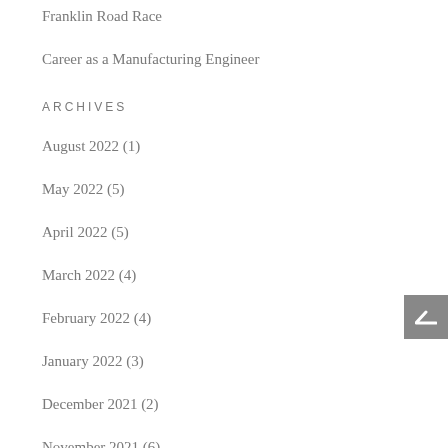Franklin Road Race
Career as a Manufacturing Engineer
ARCHIVES
August 2022 (1)
May 2022 (5)
April 2022 (5)
March 2022 (4)
February 2022 (4)
January 2022 (3)
December 2021 (2)
November 2021 (6)